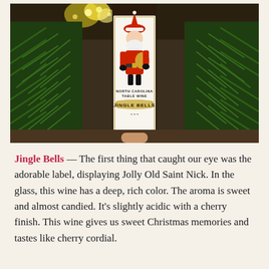[Figure (photo): Photo of a wine bottle with a label showing Santa Claus (Jolly Old Saint Nick) carrying a bag of toys, labeled 'NORTH CAROLINA TABLE WINE' and 'JINGLE BELLS'. The bottle is surrounded by pine tree branches and Christmas lights in the background.]
Jingle Bells — The first thing that caught our eye was the adorable label, displaying Jolly Old Saint Nick. In the glass, this wine has a deep, rich color. The aroma is sweet and almost candied. It's slightly acidic with a cherry finish. This wine gives us sweet Christmas memories and tastes like cherry cordial.